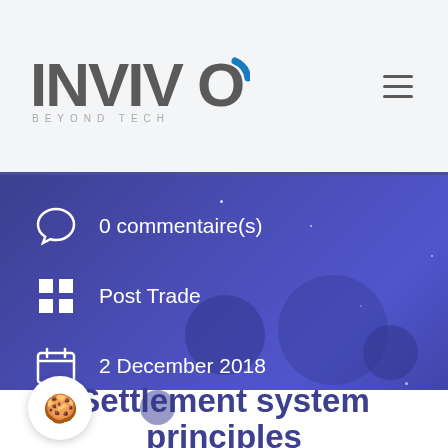INVIVOO BEYOND TECH
0 commentaire(s)
Post Trade
2 December 2018
Settlement system principles